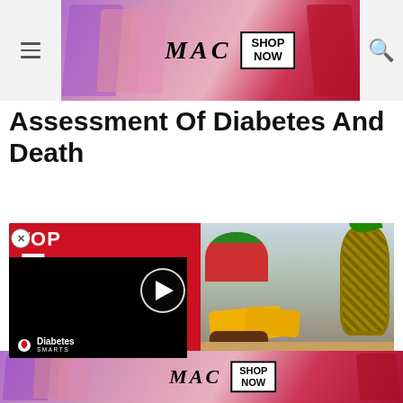MAC — SHOP NOW (advertisement banner)
Assessment Of Diabetes And Death
[Figure (photo): Video thumbnail showing 'TOP 5' text on red background with fruits (watermelon, pineapple, mango, dates) on right side. A black video panel overlays the left with a play button. 'Diabetes Smarts' logo at bottom left.]
In all three cohorts, to inquire about symptoms tic tests, a y questi
MAC — SHOP NOW (advertisement banner) | CLOSE